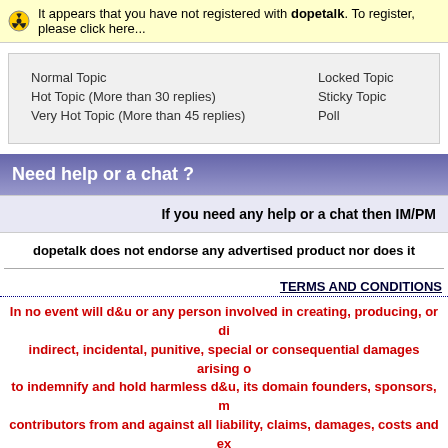It appears that you have not registered with dopetalk. To register, please click here...
| Normal Topic | Locked Topic |
| Hot Topic (More than 30 replies) | Sticky Topic |
| Very Hot Topic (More than 45 replies) | Poll |
Need help or a chat ?
If you need any help or a chat then IM/PM
dopetalk does not endorse any advertised product nor does it
TERMS AND CONDITIONS
In no event will d&u or any person involved in creating, producing, or di indirect, incidental, punitive, special or consequential damages arising o to indemnify and hold harmless d&u, its domain founders, sponsors, m contributors from and against all liability, claims, damages, costs and ex indirectly from the use of any part o
TO USE THIS WEBSITE YOU MUST AGREE TO THE TE